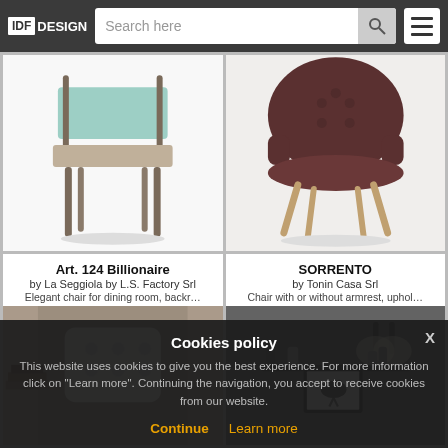IDF DESIGN | Search here
[Figure (photo): Dining chair with mint/teal upholstered back and seat, taupe/brown wooden legs, white background]
[Figure (photo): Armchair with dark brown tufted leather/fabric upholstery and light wooden legs, white background]
Art. 124 Billionaire
by La Seggiola by L.S. Factory Srl
Elegant chair for dining room, backr...
SORRENTO
by Tonin Casa Srl
Chair with or without armrest, uphol...
[Figure (photo): White tufted armchair in a room with curtains and decorative items]
[Figure (photo): Dark grey wall shelf with bird artwork, vases, books and wall lights]
Cookies policy
This website uses cookies to give you the best experience. For more information click on "Learn more". Continuing the navigation, you accept to receive cookies from our website.
Continue | Learn more